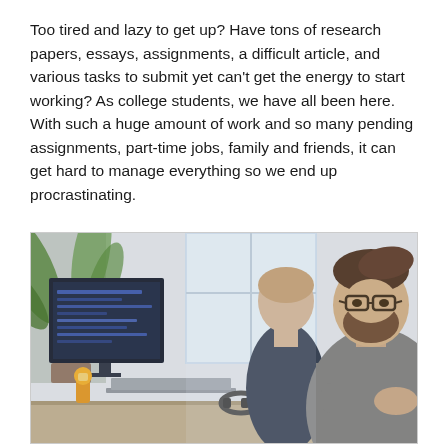Too tired and lazy to get up? Have tons of research papers, essays, assignments, a difficult article, and various tasks to submit yet can't get the energy to start working? As college students, we have all been here. With such a huge amount of work and so many pending assignments, part-time jobs, family and friends, it can get hard to manage everything so we end up procrastinating.
[Figure (photo): Two men sitting at a desk in a bright office, working on computers. The man in the foreground has a beard and glasses and wears a grey sweater. The man in the background wears a dark top. A monitor, laptop, plant, and headphones are visible on the desk.]